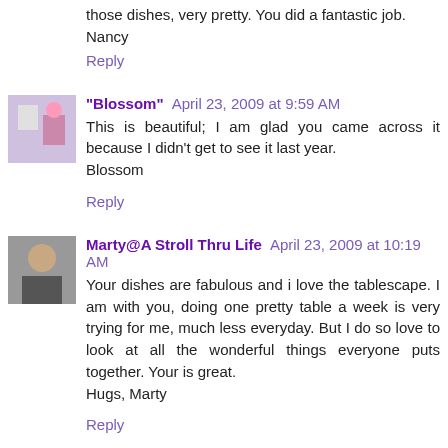those dishes, very pretty. You did a fantastic job.
Nancy
Reply
"Blossom" April 23, 2009 at 9:59 AM
This is beautiful; I am glad you came across it because I didn't get to see it last year.
Blossom
Reply
Marty@A Stroll Thru Life April 23, 2009 at 10:19 AM
Your dishes are fabulous and i love the tablescape. I am with you, doing one pretty table a week is very trying for me, much less everyday. But I do so love to look at all the wonderful things everyone puts together. Your is great.
Hugs, Marty
Reply